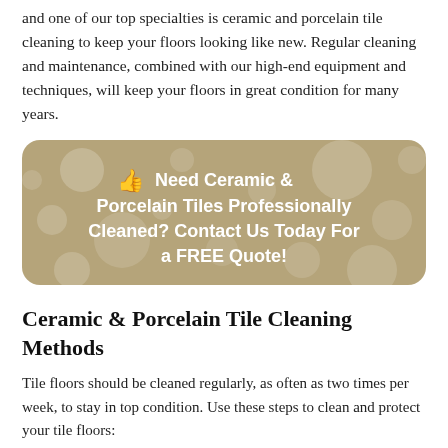and one of our top specialties is ceramic and porcelain tile cleaning to keep your floors looking like new. Regular cleaning and maintenance, combined with our high-end equipment and techniques, will keep your floors in great condition for many years.
[Figure (infographic): Rounded tan/beige banner with bokeh light dots background, thumb/hand icon, white bold text: 'Need Ceramic & Porcelain Tiles Professionally Cleaned? Contact Us Today For a FREE Quote!']
Ceramic & Porcelain Tile Cleaning Methods
Tile floors should be cleaned regularly, as often as two times per week, to stay in top condition. Use these steps to clean and protect your tile floors:
Sweep loose dirt and debris with a soft-bristle broom. Vacuum remaining dirt and dust with the brush attachment.